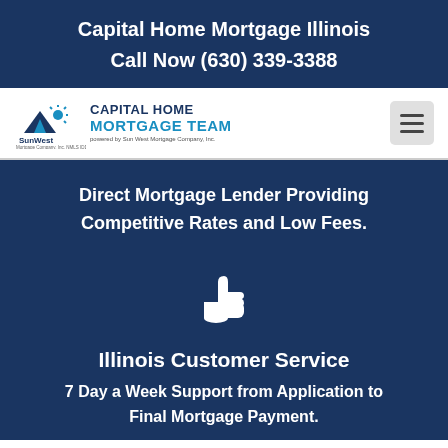Capital Home Mortgage Illinois
Call Now (630) 339-3388
[Figure (logo): SunWest / Capital Home Mortgage Team logo with hamburger menu button]
Direct Mortgage Lender Providing Competitive Rates and Low Fees.
[Figure (illustration): White thumbs-up icon on dark blue background]
Illinois Customer Service
7 Day a Week Support from Application to Final Mortgage Payment.